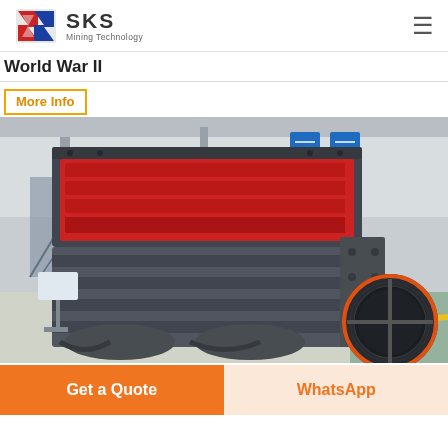SKS Mining Technology
World War II
More Info
[Figure (photo): Large industrial impact crusher/hammer mill machine displayed in a factory floor. The machine is primarily grey/dark metal with red interior lining visible at the top. A large black flywheel pulley is visible on the right side. Blue banner signs in Chinese are visible in the background, along with factory infrastructure including staircases and industrial equipment.]
Get a Quote
WhatsApp